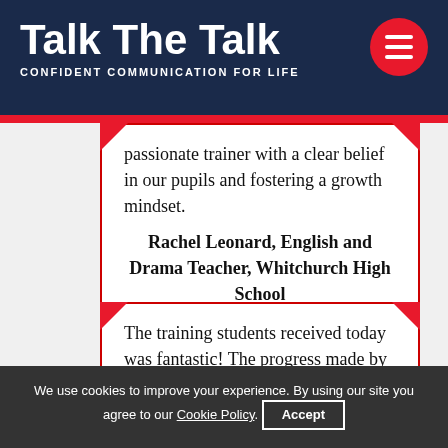Talk The Talk — CONFIDENT COMMUNICATION FOR LIFE
passionate trainer with a clear belief in our pupils and fostering a growth mindset.
Rachel Leonard, English and Drama Teacher, Whitchurch High School
The training students received today was fantastic! The progress made by all
We use cookies to improve your experience. By using our site you agree to our Cookie Policy. Accept